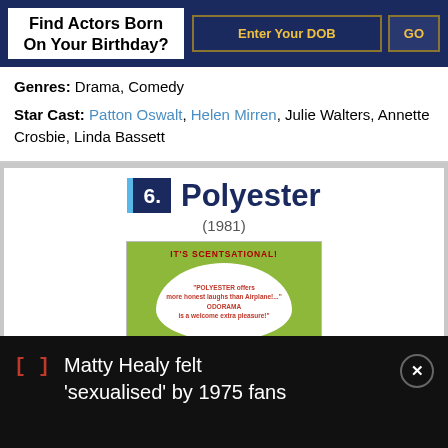Find Actors Born On Your Birthday?
Genres: Drama, Comedy
Star Cast: Patton Oswalt, Helen Mirren, Julie Walters, Annette Crosbie, Linda Bassett
6. Polyester (1981)
[Figure (photo): Movie poster for Polyester (1981) with green background, red text reading IT'S SCENTSATIONAL! and a white cloud/bubble shape with quote text about POLYESTER and ODORAMA]
Matty Healy felt 'sexualised' by 1975 fans